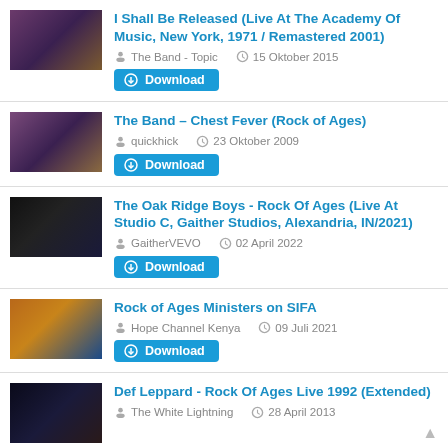I Shall Be Released (Live At The Academy Of Music, New York, 1971 / Remastered 2001) | The Band - Topic | 15 Oktober 2015 | Download
The Band - Chest Fever (Rock of Ages) | quickhick | 23 Oktober 2009 | Download
The Oak Ridge Boys - Rock Of Ages (Live At Studio C, Gaither Studios, Alexandria, IN/2021) | GaitherVEVO | 02 April 2022 | Download
Rock of Ages Ministers on SIFA | Hope Channel Kenya | 09 Juli 2021 | Download
Def Leppard - Rock Of Ages Live 1992 (Extended) | The White Lightning | 28 April 2013